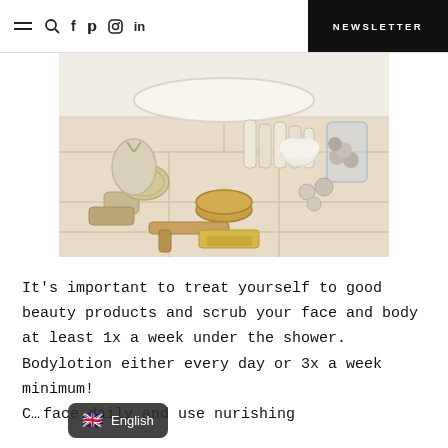≡ 🔍 f 𝗽 ⊙ in | NEWSLETTER
[Figure (photo): Beauty and spa products arranged on tile floor near a bathtub: lotions, tubes, soap bars, brushes, bath balls, and a glass jar with decorative items.]
It's important to treat yourself to good beauty products and scrub your face and body at least 1x a week under the shower. Bodylotion either every day or 3x a week minimum! C... face daily and use nurishing
English